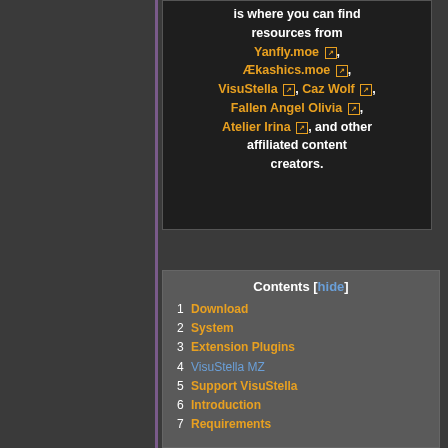Welcome to the Wiki. This is where you can find resources from Yanfly.moe, Ækashics.moe, VisuStella, Caz Wolf, Fallen Angel Olivia, Atelier Irina, and other affiliated content creators.
| 1 | Download |
| 2 | System |
| 3 | Extension Plugins |
| 4 | VisuStella MZ |
| 5 | Support VisuStella |
| 6 | Introduction |
| 7 | Requirements |